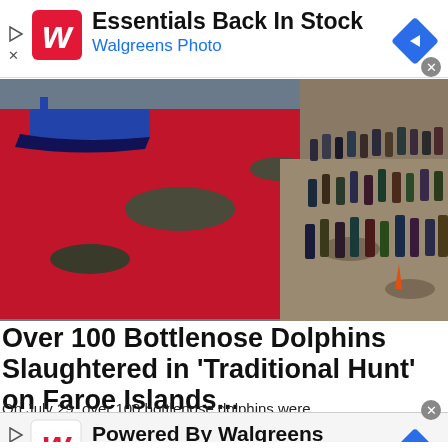[Figure (other): Walgreens Photo advertisement banner: 'Essentials Back In Stock' with Walgreens logo, blue navigation arrow icon, and close button]
[Figure (photo): Aerial/shoreline photo showing a bay with deep red blood-stained water and crowds of people standing on rocky shore, associated with dolphin slaughter on Faroe Islands]
Over 100 Bottlenose Dolphins Slaughtered in 'Traditional Hunt' on Faroe Islands...
On July 29, over 100 bottlenose dolphins were
[Figure (other): Walgreens Photo advertisement banner: 'Powered By Walgreens' with Walgreens logo, blue navigation arrow icon, and close button]